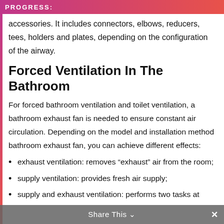PROGRESS:
accessories. It includes connectors, elbows, reducers, tees, holders and plates, depending on the configuration of the airway.
Forced Ventilation In The Bathroom
For forced bathroom ventilation and toilet ventilation, a bathroom exhaust fan is needed to ensure constant air circulation. Depending on the model and installation method bathroom exhaust fan, you can achieve different effects:
exhaust ventilation: removes “exhaust” air from the room;
supply ventilation: provides fresh air supply;
supply and exhaust ventilation: performs two tasks at once, allowing you to comprehensively solve any problems with air exchange.
Share This ⌄  ×